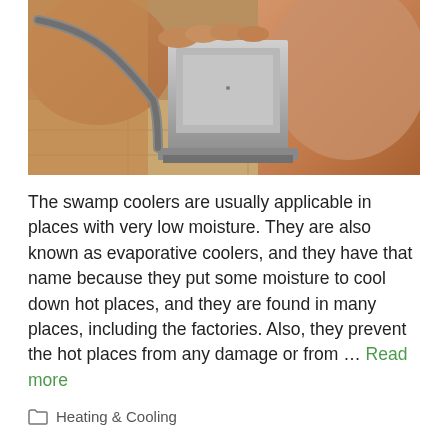[Figure (photo): Close-up photograph of hands working on a swamp cooler or HVAC unit, showing a metal component and tubing/hose being handled, with tiled flooring visible in background.]
The swamp coolers are usually applicable in places with very low moisture. They are also known as evaporative coolers, and they have that name because they put some moisture to cool down hot places, and they are found in many places, including the factories. Also, they prevent the hot places from any damage or from … Read more
Heating & Cooling